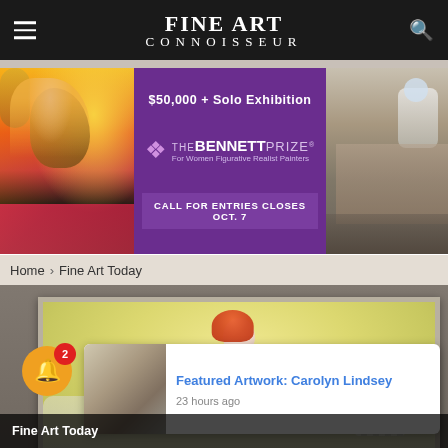FINE ART CONNOISSEUR
[Figure (photo): The Bennett Prize advertisement banner with purple background, showing $50,000 + Solo Exhibition, The Bennett Prize logo, For Women Figurative Realist Painters, Call for Entries Closes Oct. 7, flanked by colorful artwork image on left and figure artwork on right]
Home › Fine Art Today
[Figure (photo): Featured artwork: a framed painting of a woman with red/orange hair seated on a couch against a yellow-toned background, displayed in a gallery-style gray frame on a gray wall]
Featured Artwork: Carolyn Lindsey
23 hours ago
Fine Art Today